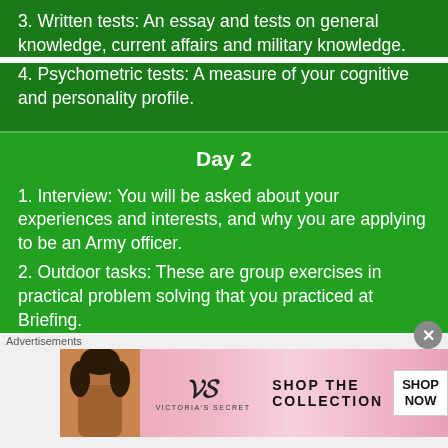3. Written tests: An essay and tests on general knowledge, current affairs and military knowledge.
4. Psychometric tests: A measure of your cognitive and personality profile.
Day 2
1. Interview: You will be asked about your experiences and interests, and why you are applying to be an Army officer.
2. Outdoor tasks: These are group exercises in practical problem solving that you practiced at Briefing.
3. Tutorial: A revision period in preparation for the
[Figure (illustration): Advertisement banner for Victoria's Secret with a model, VS logo, 'SHOP THE COLLECTION' text, and a 'SHOP NOW' button]